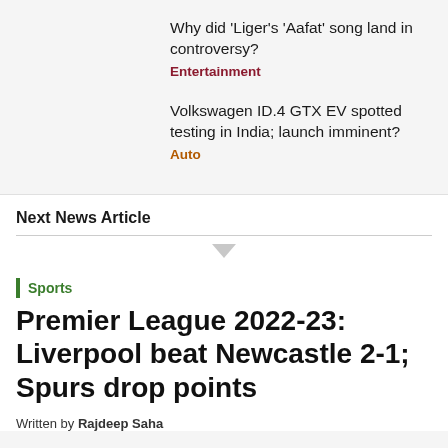Why did 'Liger's 'Aafat' song land in controversy?
Entertainment
Volkswagen ID.4 GTX EV spotted testing in India; launch imminent?
Auto
Next News Article
Sports
Premier League 2022-23: Liverpool beat Newcastle 2-1; Spurs drop points
Written by Rajdeep Saha